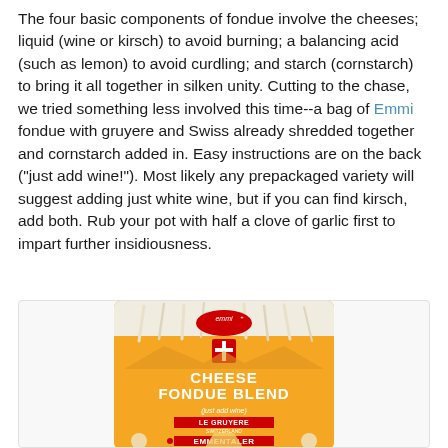The four basic components of fondue involve the cheeses; liquid (wine or kirsch) to avoid burning; a balancing acid (such as lemon) to avoid curdling; and starch (cornstarch) to bring it all together in silken unity. Cutting to the chase, we tried something less involved this time--a bag of Emmi fondue with gruyere and Swiss already shredded together and cornstarch added in. Easy instructions are on the back ("just add wine!"). Most likely any prepackaged variety will suggest adding just white wine, but if you can find kirsch, add both. Rub your pot with half a clove of garlic first to impart further insidiousness.
[Figure (photo): A bag of Emmi Cheese Fondue Blend (just add wine) showing Le Gruyere Switzerland and Emmentaler labels, with Swiss cross logo, on an orange background with mountain and alpine flower decorations.]